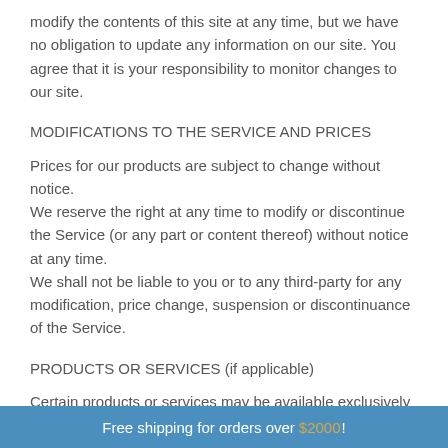modify the contents of this site at any time, but we have no obligation to update any information on our site. You agree that it is your responsibility to monitor changes to our site.
MODIFICATIONS TO THE SERVICE AND PRICES
Prices for our products are subject to change without notice.
We reserve the right at any time to modify or discontinue the Service (or any part or content thereof) without notice at any time.
We shall not be liable to you or to any third-party for any modification, price change, suspension or discontinuance of the Service.
PRODUCTS OR SERVICES (if applicable)
Certain products or services may be available exclusively online through the website. These products or services
Free shipping for orders over $2000 !